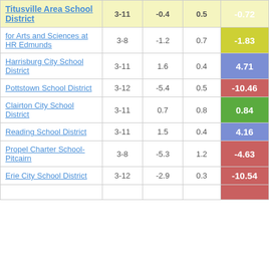| School District | Grades | Col3 | Col4 | Score |
| --- | --- | --- | --- | --- |
| Titusville Area School District | 3-11 | -0.4 | 0.5 | -0.72 |
| for Arts and Sciences at HR Edmunds | 3-8 | -1.2 | 0.7 | -1.83 |
| Harrisburg City School District | 3-11 | 1.6 | 0.4 | 4.71 |
| Pottstown School District | 3-12 | -5.4 | 0.5 | -10.46 |
| Clairton City School District | 3-11 | 0.7 | 0.8 | 0.84 |
| Reading School District | 3-11 | 1.5 | 0.4 | 4.16 |
| Propel Charter School-Pitcairn | 3-8 | -5.3 | 1.2 | -4.63 |
| Erie City School District | 3-12 | -2.9 | 0.3 | -10.54 |